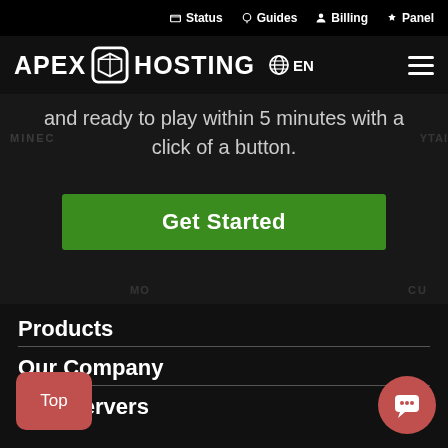Status | Guides | Billing | Panel
[Figure (logo): Apex Hosting logo with cube icon and EN language selector]
and ready to play within 5 minutes with a click of a button.
Get Started
Products
Our Company
Game Servers
Top